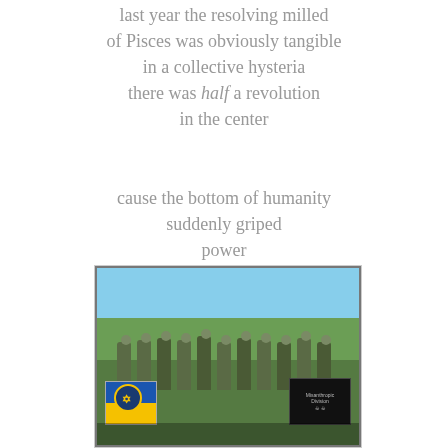last year the resolving milled of Pisces was obviously tangible in a collective hysteria there was half a revolution in the center

cause the bottom of humanity suddenly griped power and the hate bubble burst open filled with misanthropy
[Figure (photo): Group photo of armed soldiers in camouflage holding flags including an Azov battalion flag and a dark banner, outdoors in a field]